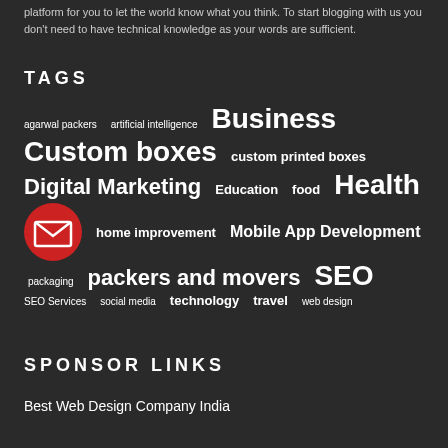platform for you to let the world know what you think. To start blogging with us you don't need to have technical knowledge as your words are sufficient.
TAGS
[Figure (infographic): Tag cloud with various blog topic tags in different font sizes indicating frequency: Business (xlarge), Custom boxes (xlarge), Health (xlarge), SEO (xlarge), Digital Marketing (large), Mobile App Development (large), packers and movers (large), technology (large), travel (large), Education (medium), food (medium), custom printed boxes (medium), home improvement (medium), packaging (small), agarwal packers (small), artificial intelligence (small), social media (small), SEO Services (small), web design (small). A red circle email/envelope icon is overlaid on the lower left of the tag cloud.]
SPONSOR LINKS
Best Web Design Company India